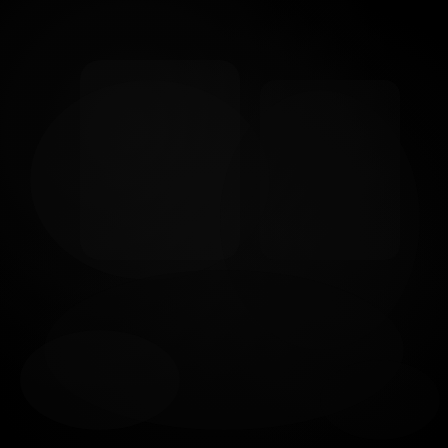[Figure (photo): A very dark/black image, nearly entirely black with subtle dark tonal variations suggesting a low-light or underexposed photograph.]